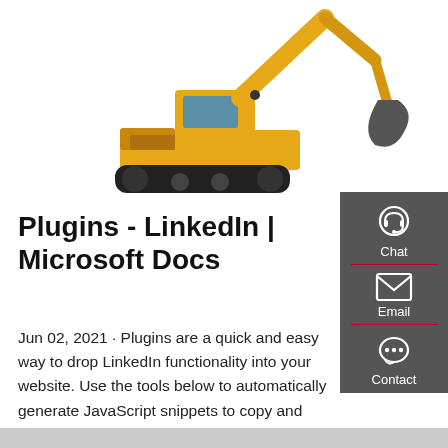[Figure (photo): Yellow excavator/construction crane machine on white background]
Plugins - LinkedIn | Microsoft Docs
Jun 02, 2021 · Plugins are a quick and easy way to drop LinkedIn functionality into your website. Use the tools below to automatically generate JavaScript snippets to copy and paste directly to your sites. Share
Get a quote